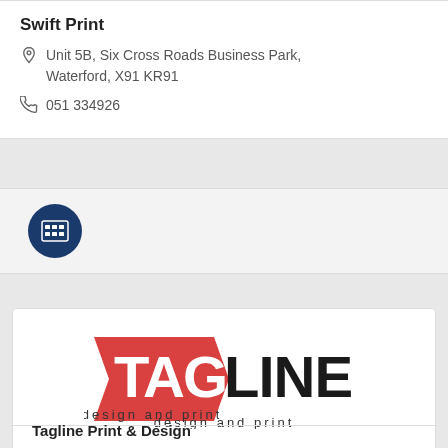Swift Print
Unit 5B, Six Cross Roads Business Park, Waterford, X91 KR91
051 334926
[Figure (other): Dark blue circular icon with a document/list grid symbol inside]
[Figure (logo): Tagline design and print logo — 'TAG' in red bold letters on a red tag shape, 'LINE' in large black letters, 'design and print' in smaller black text below]
Tagline Print & Design